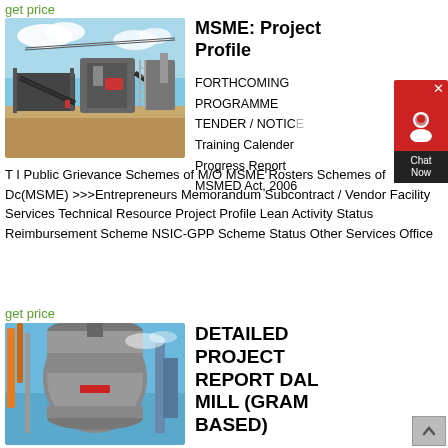get price
[Figure (photo): Industrial mobile crushing/screening plant machinery on a dirt site with blue sky background]
MSME: Project Profile
FORTHCOMING PROGRAMME
TENDER / NOTICE
Training Calender
Progress Report
MSMED Act, 2006
T I Public Grievance Schemes of M/O MSME Rosters Schemes of Dc(MSME) >>>Entrepreneurs Memorandum Subcontract / Vendor Facility Services Technical Resource Project Profile Lean Activity Status Reimbursement Scheme NSIC-GPP Scheme Status Other Services Office
get price
[Figure (photo): Industrial mill or grinder machine mounted on a blue sky background]
DETAILED PROJECT REPORT DAL MILL (GRAM BASED)